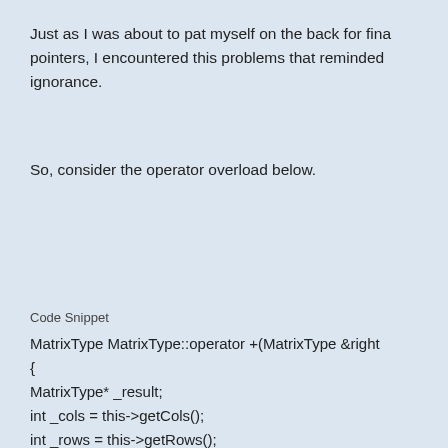Just as I was about to pat myself on the back for finally understanding pointers, I encountered this problems that reminded me of my ignorance.
So, consider the operator overload below.
Code Snippet
MatrixType MatrixType::operator +(MatrixType &right
{
MatrixType* _result;
int _cols = this->getCols();
int _rows = this->getRows();

if ((rightMatrix.getCols() != _cols) || (rightMatrix.getRo
{
throw ("Cannot add matrices of different sizes");